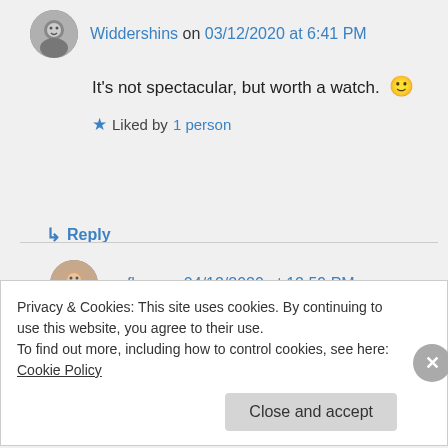Widdershins on 03/12/2020 at 6:41 PM
It's not spectacular, but worth a watch. 🙂
★ Liked by 1 person
↳ Reply
acflory on 04/12/2020 at 12:59 PM
😀
Privacy & Cookies: This site uses cookies. By continuing to use this website, you agree to their use. To find out more, including how to control cookies, see here: Cookie Policy
Close and accept